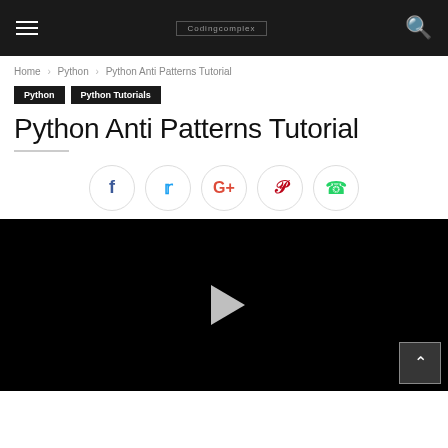Codingcomplex [logo] — hamburger menu, search icon
Home > Python > Python Anti Patterns Tutorial
Python  Python Tutorials
Python Anti Patterns Tutorial
[Figure (screenshot): Social share buttons: Facebook, Twitter, Google+, Pinterest, WhatsApp — circular bordered icons]
[Figure (screenshot): Black video player area with a white play button triangle in the center]